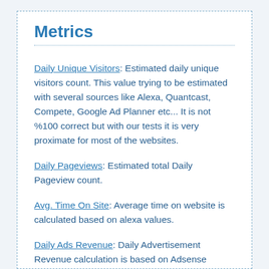Metrics
Daily Unique Visitors: Estimated daily unique visitors count. This value trying to be estimated with several sources like Alexa, Quantcast, Compete, Google Ad Planner etc... It is not %100 correct but with our tests it is very proximate for most of the websites.
Daily Pageviews: Estimated total Daily Pageview count.
Avg. Time On Site: Average time on website is calculated based on alexa values.
Daily Ads Revenue: Daily Advertisement Revenue calculation is based on Adsense income. Today most of the webmasters use Google Adsense. Our estimation is trying to